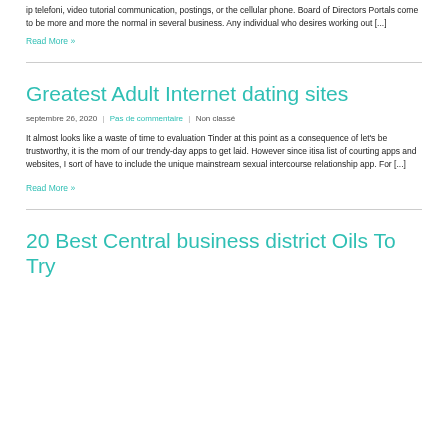ip telefoni, video tutorial communication, postings, or the cellular phone. Board of Directors Portals come to be more and more the normal in several business. Any individual who desires working out [...]
Read More »
Greatest Adult Internet dating sites
septembre 26, 2020  |  Pas de commentaire  |  Non classé
It almost looks like a waste of time to evaluation Tinder at this point as a consequence of let’s be trustworthy, it is the mom of our trendy-day apps to get laid. However since itisa list of courting apps and websites, I sort of have to include the unique mainstream sexual intercourse relationship app. For [...]
Read More »
20 Best Central business district Oils To Try